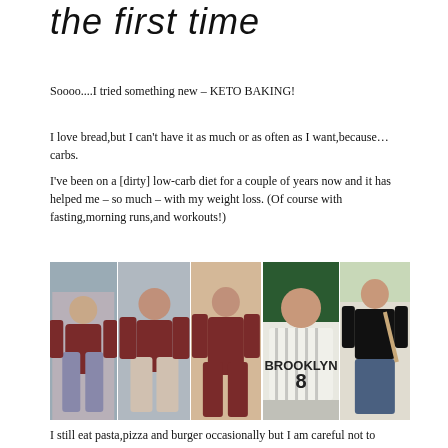the first time
Soooo....I tried something new – KETO BAKING!
I love bread,but I can't have it as much or as often as I want,because… carbs.
I've been on a [dirty] low-carb diet for a couple of years now and it has helped me – so much – with my weight loss. (Of course with fasting,morning runs,and workouts!)
[Figure (photo): Five photos of a woman showing body transformation: three photos on the left showing before/during, two photos on the right showing after, wearing various outfits including a Brooklyn 8 jersey and black top.]
I still eat pasta,pizza and burger occasionally but I am careful not to indulge